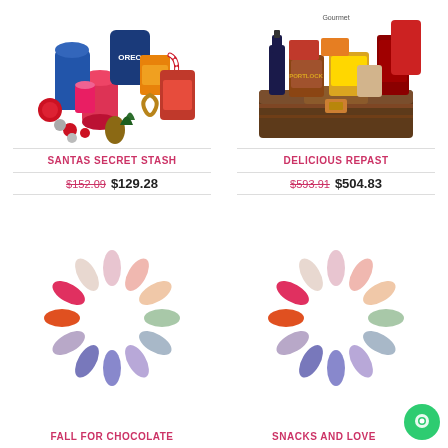[Figure (photo): Gift basket product photo - Santa's Secret Stash with snacks, chips, cookies, and holiday decorations]
SANTAS SECRET STASH
$152.09  $129.28
[Figure (photo): Gift basket product photo - Delicious Repast with gourmet foods in trunk-style box]
DELICIOUS REPAST
$593.91  $504.83
[Figure (other): Loading spinner animation placeholder for Fall for Chocolate product]
FALL FOR CHOCOLATE
[Figure (other): Loading spinner animation placeholder for Snacks and Love product]
SNACKS AND LOVE